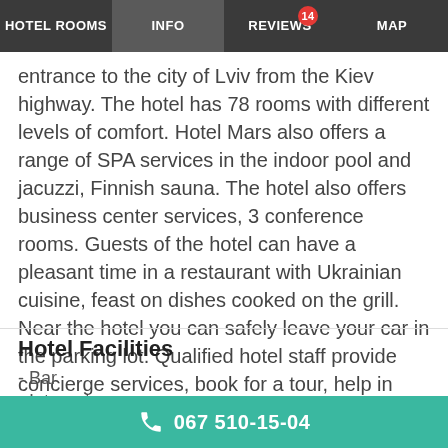HOTEL ROOMS | INFO | REVIEWS 14 | MAP
entrance to the city of Lviv from the Kiev highway. The hotel has 78 rooms with different levels of comfort. Hotel Mars also offers a range of SPA services in the indoor pool and jacuzzi, Finnish sauna. The hotel also offers business center services, 3 conference rooms. Guests of the hotel can have a pleasant time in a restaurant with Ukrainian cuisine, feast on dishes cooked on the grill. Near the hotel you can safely leave your car in the parking lot. Qualified hotel staff provide concierge services, book for a tour, help in choosing a place for recreation and entertainment, depending on the preferences of guests, book tickets, organize for a transfer. Lviv city center 7,5 km
Hotel Facilities
- Bar
- Internet
067 510-15-04